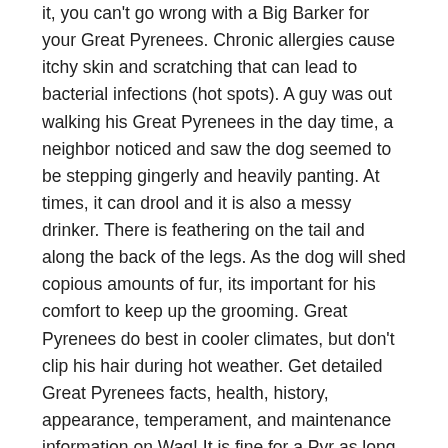it, you can't go wrong with a Big Barker for your Great Pyrenees. Chronic allergies cause itchy skin and scratching that can lead to bacterial infections (hot spots). A guy was out walking his Great Pyrenees in the day time, a neighbor noticed and saw the dog seemed to be stepping gingerly and heavily panting. At times, it can drool and it is also a messy drinker. There is feathering on the tail and along the back of the legs. As the dog will shed copious amounts of fur, its important for his comfort to keep up the grooming. Great Pyrenees do best in cooler climates, but don't clip his hair during hot weather. Get detailed Great Pyrenees facts, health, history, appearance, temperament, and maintenance information on Wag! It is fine for a Pyr as long as there is shade and dirt in which they can dig to stay cool. A nice 85o day doesn't feel quite as nice when it is accompanied by 90% humidity. Great Pyrenees do best in cooler climates, but don't